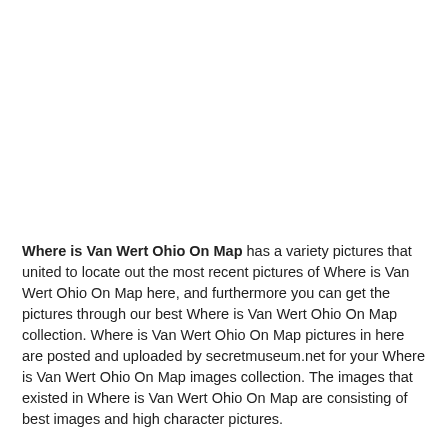Where is Van Wert Ohio On Map has a variety pictures that united to locate out the most recent pictures of Where is Van Wert Ohio On Map here, and furthermore you can get the pictures through our best Where is Van Wert Ohio On Map collection. Where is Van Wert Ohio On Map pictures in here are posted and uploaded by secretmuseum.net for your Where is Van Wert Ohio On Map images collection. The images that existed in Where is Van Wert Ohio On Map are consisting of best images and high character pictures.